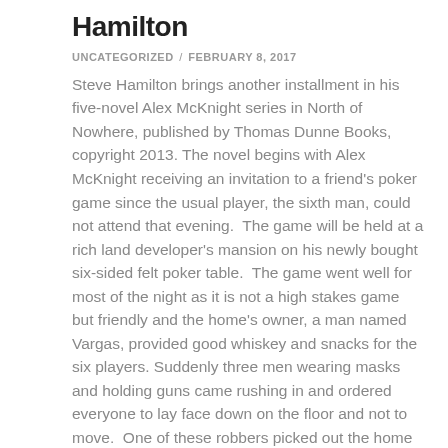Hamilton
UNCATEGORIZED / FEBRUARY 8, 2017
Steve Hamilton brings another installment in his five-novel Alex McKnight series in North of Nowhere, published by Thomas Dunne Books, copyright 2013. The novel begins with Alex McKnight receiving an invitation to a friend’s poker game since the usual player, the sixth man, could not attend that evening.  The game will be held at a rich land developer’s mansion on his newly bought six-sided felt poker table.  The game went well for most of the night as it is not a high stakes game but friendly and the home’s owner, a man named Vargas, provided good whiskey and snacks for the six players. Suddenly three men wearing masks and holding guns came rushing in and ordered everyone to lay face down on the floor and not to move.  One of these robbers picked out the home owner and ordered him upstairs to open his secret wall safe that Vargas had told very few people about.  Alex, from the floor, gets a